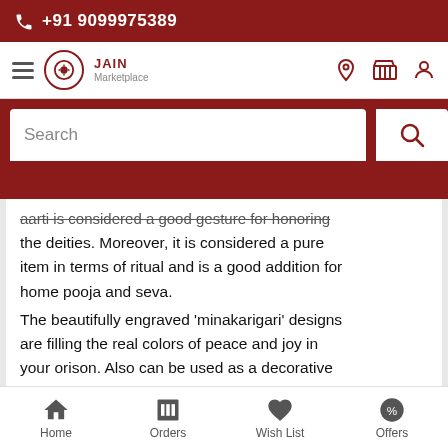+91 9099975389
[Figure (screenshot): Jain Marketplace navigation bar with hamburger menu, logo, location, cart, and profile icons]
[Figure (screenshot): Search bar with search icon on red background]
aarti is considered a good gesture for honoring the deities. Moreover, it is considered a pure item in terms of ritual and is a good addition for home pooja and seva. The beautifully engraved 'minakarigari' designs are filling the real colors of peace and joy in your orison. Also can be used as a decorative piece for your home and represents your traditional virtues. This will indeed signify your
Home   Orders   Wish List   Offers